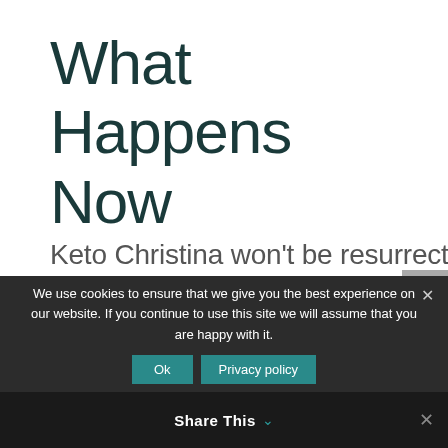What Happens Now
Keto Christina won't be resurrected as such. I prefer to work under my new branding because I have learned how to lose weight effectively by doing keto, carnivore,
We use cookies to ensure that we give you the best experience on our website. If you continue to use this site we will assume that you are happy with it.
Share This